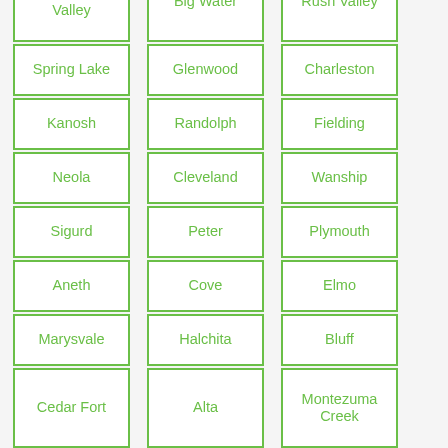Dammeron Valley
Big Water
Rush Valley
Spring Lake
Glenwood
Charleston
Kanosh
Randolph
Fielding
Neola
Cleveland
Wanship
Sigurd
Peter
Plymouth
Aneth
Cove
Elmo
Marysvale
Halchita
Bluff
Cedar Fort
Alta
Montezuma Creek
Woodland
Kanarraville
Holden